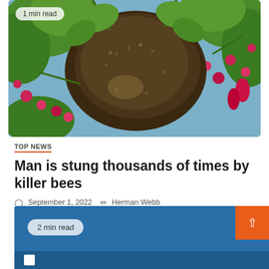[Figure (photo): A large swarm of bees clustered together on flowering tree branches with green leaves and pink flowers]
1 min read
TOP NEWS
Man is stung thousands of times by killer bees
September 1, 2022   Herman Webb
[Figure (photo): Blue card section partially visible at bottom with '2 min read' badge and orange scroll-to-top button with up arrow]
2 min read